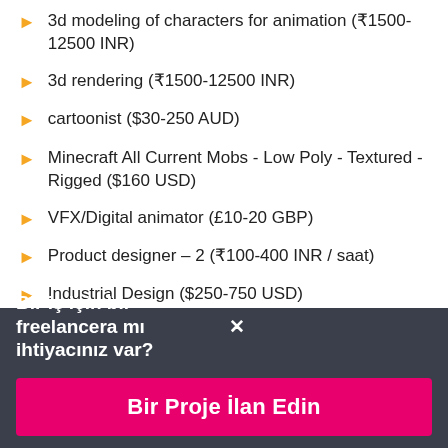3d modeling of characters for animation (₹1500-12500 INR)
3d rendering (₹1500-12500 INR)
cartoonist ($30-250 AUD)
Minecraft All Current Mobs - Low Poly - Textured - Rigged ($160 USD)
VFX/Digital animator (£10-20 GBP)
Product designer – 2 (₹100-400 INR / saat)
Industrial Design ($250-750 USD)
3D Modeling and Rendering ($30-250 USD)
Bir iş için bir freelancera mı ihtiyacınız var?
Bir Proje İlan Edin